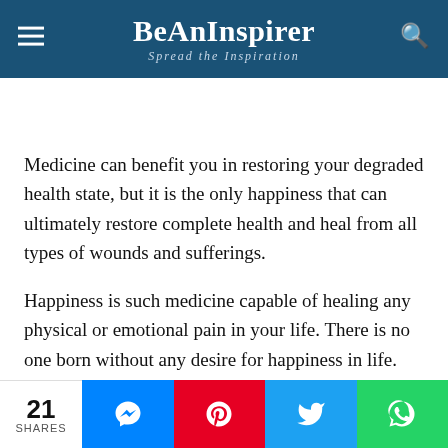BeAnInspirer — Spread the Inspiration
Medicine can benefit you in restoring your degraded health state, but it is the only happiness that can ultimately restore complete health and heal from all types of wounds and sufferings.
Happiness is such medicine capable of healing any physical or emotional pain in your life. There is no one born without any desire for happiness in life.
21 SHARES — Facebook Messenger, Pinterest, Twitter, WhatsApp share buttons